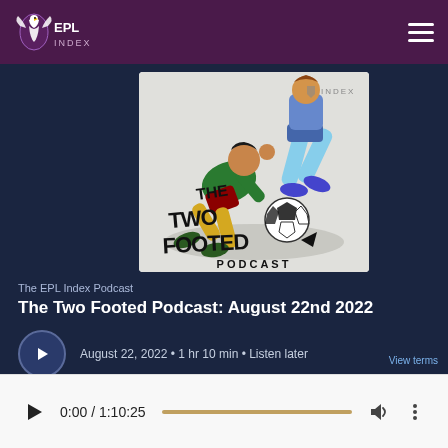EPL Index — site header with logo and navigation hamburger menu
[Figure (illustration): The Two Footed Podcast artwork: illustrated cartoon soccer players tackling, with 'THE TWO FOOTED PODCAST' text logo on a white/grey background. EPL Index branding visible.]
The EPL Index Podcast
The Two Footed Podcast: August 22nd 2022
August 22, 2022 • 1 hr 10 min • Listen later
View terms
0:00 / 1:10:25